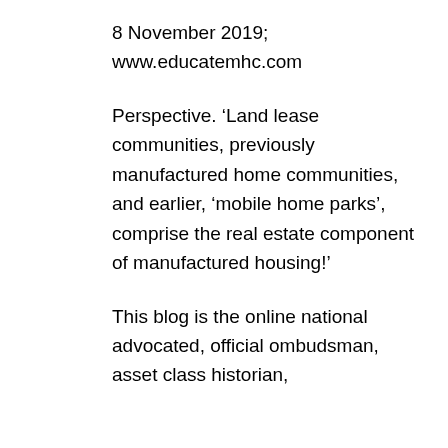8 November 2019;
www.educatemhc.com
Perspective. ‘Land lease communities, previously manufactured home communities, and earlier, ‘mobile home parks’, comprise the real estate component of manufactured housing!’
This blog is the online national advocated, official ombudsman, asset class historian,